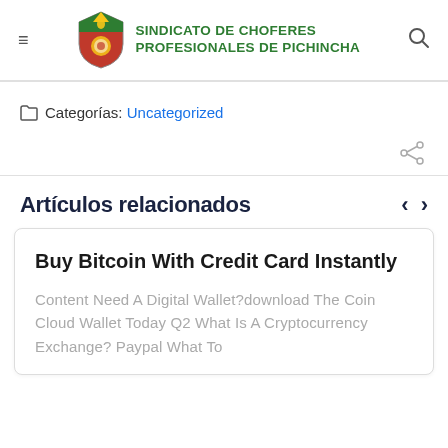SINDICATO DE CHOFERES PROFESIONALES DE PICHINCHA
Categorías: Uncategorized
Artículos relacionados
Buy Bitcoin With Credit Card Instantly
Content Need A Digital Wallet?download The Coin Cloud Wallet Today Q2 What Is A Cryptocurrency Exchange? Paypal What To